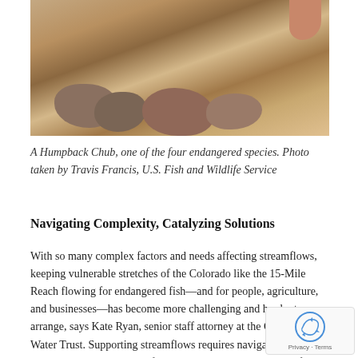[Figure (photo): A Humpback Chub fish resting on rocky streambed, held by human hands. Sandy and rocky background visible.]
A Humpback Chub, one of the four endangered species. Photo taken by Travis Francis, U.S. Fish and Wildlife Service
Navigating Complexity, Catalyzing Solutions
With so many complex factors and needs affecting streamflows, keeping vulnerable stretches of the Colorado like the 15-Mile Reach flowing for endangered fish—and for people, agriculture, and businesses—has become more challenging and harder to arrange, says Kate Ryan, senior staff attorney at the Colorado Water Trust. Supporting streamflows requires navigating complex water laws while planning for agile, collaborative solutions for the long term, says Ryan.